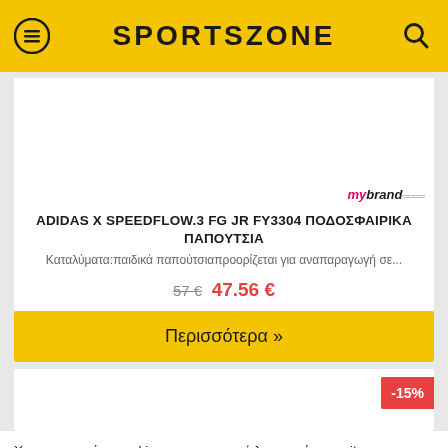SPORTSZONE
[Figure (other): Product image area (white background, mybrands.com logo watermark at bottom right)]
ADIDAS X SPEEDFLOW.3 FG JR FY3304 ΠΟΔΟΣΦΑΙΡΙΚΑ ΠΑΠΟΥΤΣΙΑ
Καταλύματα:παιδικά παπούτσιαπροορίζεται για αναπαραγωγή σε...
57 € 47.56 €
Περισσότερα »
[Figure (other): Second product card with -15% discount badge]
Χρησιμοποιούμε cookies για την σωστή λειτουργία του site. Συνεχίζοντας την πλοήγησή σας αποδέχεστε τη χρήση των cookies. Περισσότερα εδώ
OK